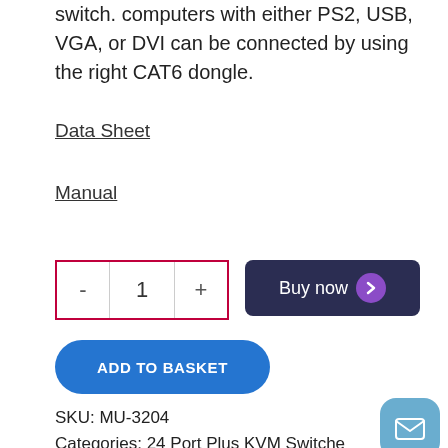switch. computers with either PS2, USB, VGA, or DVI can be connected by using the right CAT6 dongle.
Data Sheet
Manual
1
Buy now
ADD TO BASKET
SKU: MU-3204
Categories: 24 Port Plus KVM Switches Consoles, Austin Hughes, CyberView Rack